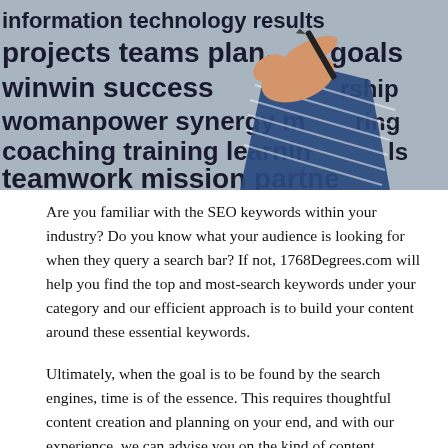[Figure (photo): A photo showing a word cloud with business/management keywords (information technology results, projects teams plan goals, winwin success leadership, womanpower synergy mentoring, coaching training learning skills, teamwork mission partners) printed on a surface, with a hand holding a pen writing on it.]
Are you familiar with the SEO keywords within your industry? Do you know what your audience is looking for when they query a search bar? If not, 1768Degrees.com will help you find the top and most-search keywords under your category and our efficient approach is to build your content around these essential keywords.
Ultimately, when the goal is to be found by the search engines, time is of the essence. This requires thoughtful content creation and planning on your end, and with our experience, we can advise you on the kind of content necessary to build your site on.